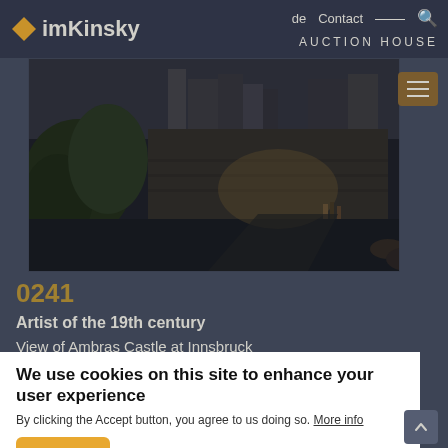imKinsky AUCTION HOUSE | de  Contact  🔍
[Figure (photo): Dark painting of Ambras Castle at Innsbruck, landscape view with trees, stone walls, and figures in the foreground]
0241
Artist of the 19th century
View of Ambras Castle at Innsbruck
Estimate: € 1.000 – 2.000
Auction is closed.
We use cookies on this site to enhance your user experience
By clicking the Accept button, you agree to us doing so. More info
Accept